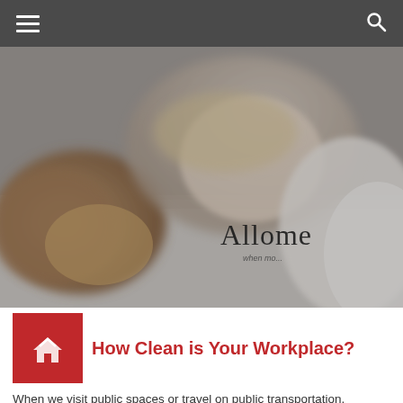Navigation bar with hamburger menu and search icon
[Figure (photo): A person lying face down on a flat surface holding a brown cloth/glove, cleaning. A brand name 'Allome' and tagline 'when mo...' overlaid on the bottom right of the image.]
How Clean is Your Workplace?
When we visit public spaces or travel on public transportation,